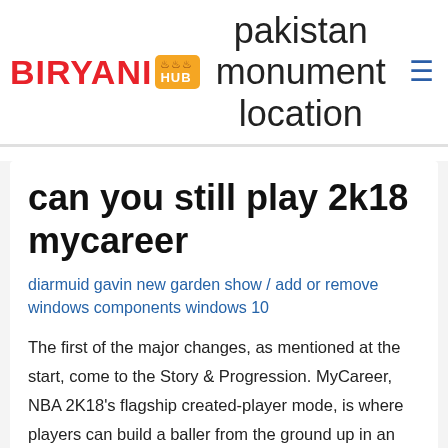BIRYANI HUB — pakistan monument location
can you still play 2k18 mycareer
diarmuid gavin new garden show / add or remove windows components windows 10
The first of the major changes, as mentioned at the start, come to the Story & Progression. MyCareer, NBA 2K18's flagship created-player mode, is where players can build a baller from the ground up in an excited platform. . WWE 2K18 Review - IGN The official launch of WWE 2K18 may be upon us, but 2K still has more in